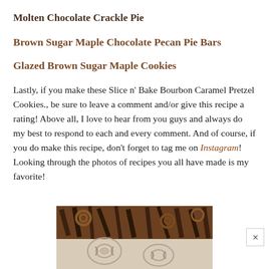Molten Chocolate Crackle Pie
Brown Sugar Maple Chocolate Pecan Pie Bars
Glazed Brown Sugar Maple Cookies
Lastly, if you make these Slice n' Bake Bourbon Caramel Pretzel Cookies., be sure to leave a comment and/or give this recipe a rating! Above all, I love to hear from you guys and always do my best to respond to each and every comment. And of course, if you do make this recipe, don't forget to tag me on Instagram! Looking through the photos of recipes you all have made is my favorite!
[Figure (photo): A food photo showing chocolate and pretzel cookies with caramel, partially visible at the bottom of the page]